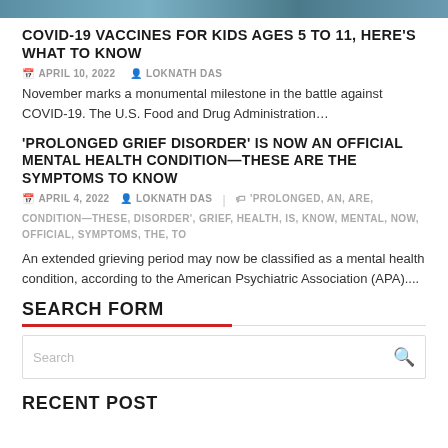[Figure (photo): Partial photo of children at top of page]
COVID-19 VACCINES FOR KIDS AGES 5 TO 11, HERE'S WHAT TO KNOW
APRIL 10, 2022   LOKNATH DAS
November marks a monumental milestone in the battle against COVID-19. The U.S. Food and Drug Administration…
'PROLONGED GRIEF DISORDER' IS NOW AN OFFICIAL MENTAL HEALTH CONDITION—THESE ARE THE SYMPTOMS TO KNOW
APRIL 4, 2022   LOKNATH DAS   'PROLONGED, AN, ARE, CONDITION—THESE, DISORDER', GRIEF, HEALTH, IS, KNOW, MENTAL, NOW, OFFICIAL, SYMPTOMS, THE, TO
An extended grieving period may now be classified as a mental health condition, according to the American Psychiatric Association (APA)....
SEARCH FORM
RECENT POST